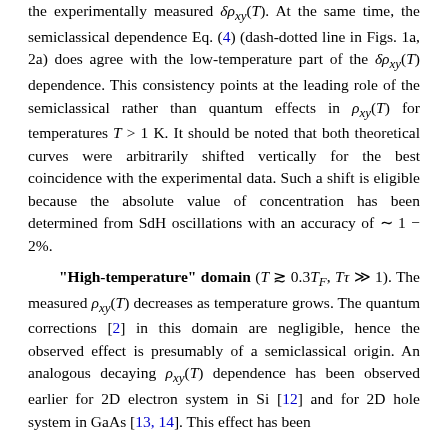the experimentally measured δρ_xy(T). At the same time, the semiclassical dependence Eq. (4) (dash-dotted line in Figs. 1a, 2a) does agree with the low-temperature part of the δρ_xy(T) dependence. This consistency points at the leading role of the semiclassical rather than quantum effects in ρ_xy(T) for temperatures T > 1 K. It should be noted that both theoretical curves were arbitrarily shifted vertically for the best coincidence with the experimental data. Such a shift is eligible because the absolute value of concentration has been determined from SdH oscillations with an accuracy of ~1 – 2%.
"High-temperature" domain (T ≳ 0.3T_F, Tτ ≫ 1). The measured ρ_xy(T) decreases as temperature grows. The quantum corrections [2] in this domain are negligible, hence the observed effect is presumably of a semiclassical origin. An analogous decaying ρ_xy(T) dependence has been observed earlier for 2D electron system in Si [12] and for 2D hole system in GaAs [13, 14]. This effect has been